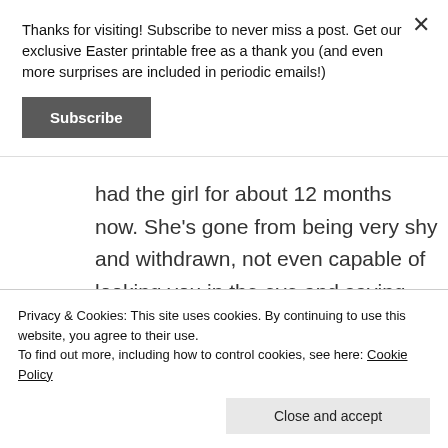Thanks for visiting! Subscribe to never miss a post. Get our exclusive Easter printable free as a thank you (and even more surprises are included in periodic emails!)
Subscribe
had the girl for about 12 months now. She's gone from being very shy and withdrawn, not even capable of looking you in the eye and saying hello, to loud and happily boisterous, the sort of child who will yell
Privacy & Cookies: This site uses cookies. By continuing to use this website, you agree to their use.
To find out more, including how to control cookies, see here: Cookie Policy
Close and accept